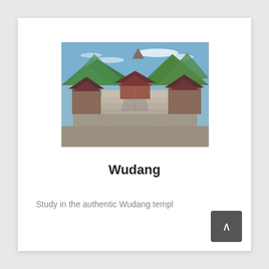[Figure (photo): Photograph of Wudang temple complex with grand stone staircase leading up to red-roofed traditional Chinese buildings, set against green mountains and blue sky with wispy clouds.]
Wudang
Study in the authentic Wudang templ…